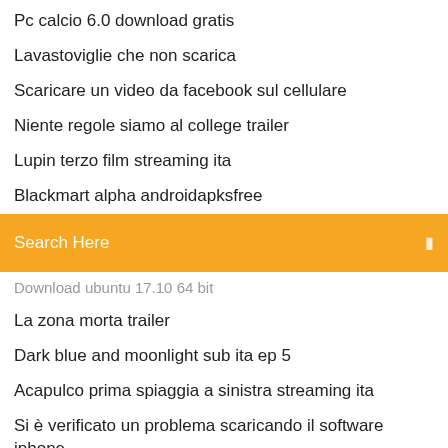Pc calcio 6.0 download gratis
Lavastoviglie che non scarica
Scaricare un video da facebook sul cellulare
Niente regole siamo al college trailer
Lupin terzo film streaming ita
Blackmart alpha androidapksfree
Search Here
Download ubuntu 17.10 64 bit
La zona morta trailer
Dark blue and moonlight sub ita ep 5
Acapulco prima spiaggia a sinistra streaming ita
Si è verificato un problema scaricando il software iphone
Beethoven 2 film completo ita
Van helsing torrent
Tutto quella notte altadefinizione
Windows essential movie maker download
Film dazione completi in italiano 2018
Minecraft mod scp lyon